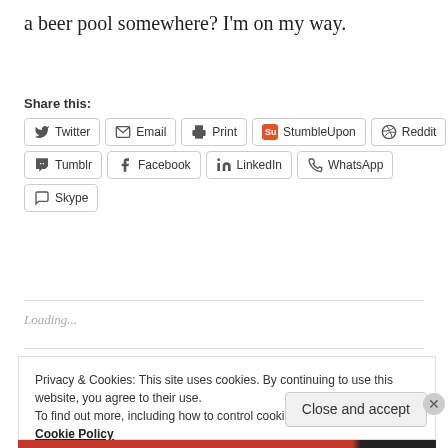a beer pool somewhere? I'm on my way.
Share this:
[Figure (screenshot): Social sharing buttons: Twitter, Email, Print, StumbleUpon, Reddit, Tumblr, Facebook, LinkedIn, WhatsApp, Skype]
Loading...
Privacy & Cookies: This site uses cookies. By continuing to use this website, you agree to their use.
To find out more, including how to control cookies, see here:
Cookie Policy
Close and accept